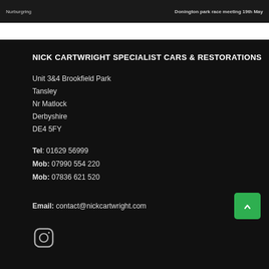Nurburgring   Donington park race meeting 19th May
NICK CARTWRIGHT SPECIALIST CARS & RESTORATIONS
Unit 3&4 Brookfield Park
Tansley
Nr Matlock
Derbyshire
DE4 5FY
Tel: 01629 56999
Mob: 07990 554 220
Mob: 07836 621 520
Email: contact@nickcartwright.com
[Figure (illustration): Instagram icon (circle with camera outline)]